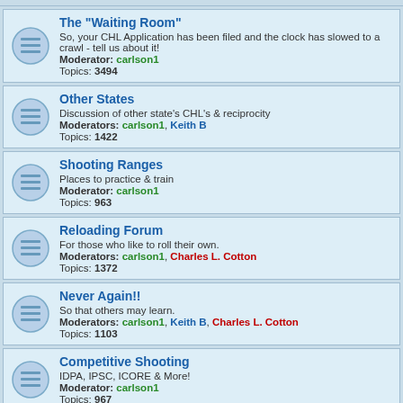The "Waiting Room" - So, your CHL Application has been filed and the clock has slowed to a crawl - tell us about it! Moderator: carlson1 Topics: 3494
Other States - Discussion of other state's CHL's & reciprocity Moderators: carlson1, Keith B Topics: 1422
Shooting Ranges - Places to practice & train Moderator: carlson1 Topics: 963
Reloading Forum - For those who like to roll their own. Moderators: carlson1, Charles L. Cotton Topics: 1372
Never Again!! - So that others may learn. Moderators: carlson1, Keith B, Charles L. Cotton Topics: 1103
Competitive Shooting - IDPA, IPSC, ICORE & More! Moderator: carlson1 Topics: 967
Hunting Photos - Post your hunting/trophy photos here, and tell us a little about your trip. WARNING:...